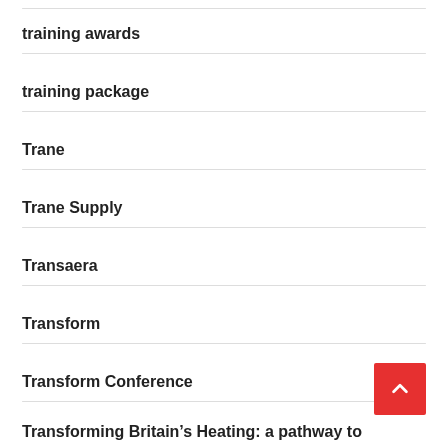training awards
training package
Trane
Trane Supply
Transaera
Transform
Transform Conference
Transforming Britain’s Heating: a pathway to